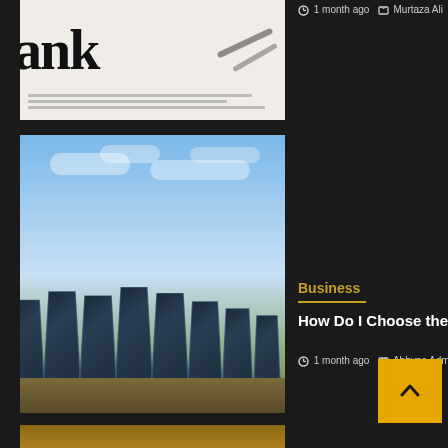[Figure (photo): Newspaper with glasses on top, text reading 'ank' visible]
1 month ago   Murtaza Ali
[Figure (photo): Solar panels against a blue sky with clouds]
Business
How Do I Choose the B
1 month ago   Abhype Admin
[Figure (photo): Gift boxes on wooden table, partially visible]
[Figure (other): Back to top button, yellow/orange square with upward chevron]